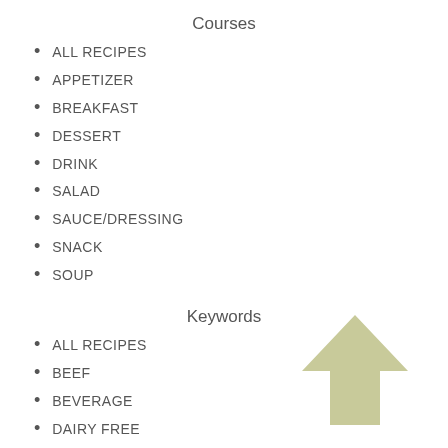Courses
ALL RECIPES
APPETIZER
BREAKFAST
DESSERT
DRINK
SALAD
SAUCE/DRESSING
SNACK
SOUP
Keywords
ALL RECIPES
BEEF
BEVERAGE
DAIRY FREE
EGG FREE
EGGS
GRAIN FREE
GRAINS
GUTRX WITH GRAINS AND STARCHES
[Figure (illustration): A large upward-pointing arrow in a muted olive/sage green color, positioned in the lower right area of the page.]